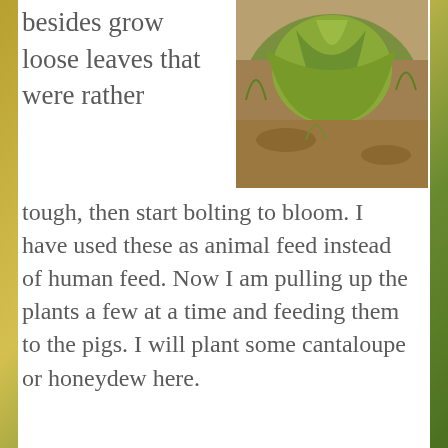[Figure (photo): Garden plants with green leaves and soil visible, viewed from above]
besides grow loose leaves that were rather tough, then start bolting to bloom. I have used these as animal feed instead of human feed. Now I am pulling up the plants a few at a time and feeding them to the pigs. I will plant some cantaloupe or honeydew here.
[Figure (photo): Close-up of a red/orange zinnia flower with yellow center against green leaves background]